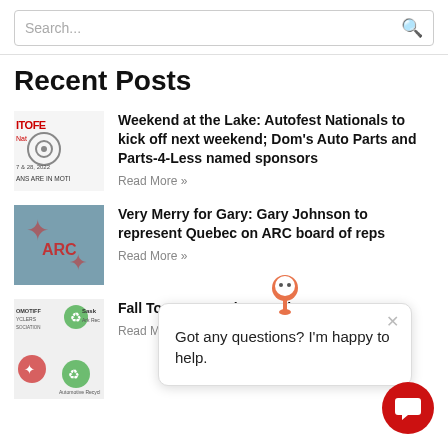Search...
Recent Posts
Weekend at the Lake: Autofest Nationals to kick off next weekend; Dom's Auto Parts and Parts-4-Less named sponsors
Read More »
Very Merry for Gary: Gary Johnson to represent Quebec on ARC board of reps
Read More »
Fall Tour... conventi... months
Read More »
Got any questions? I'm happy to help.